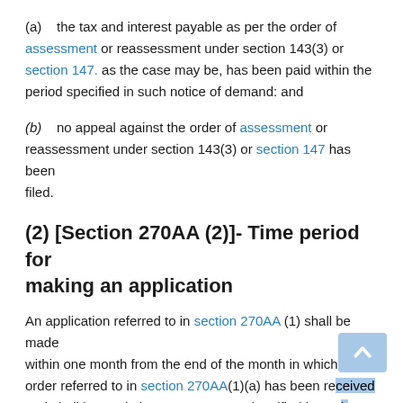(a) the tax and interest payable as per the order of assessment or reassessment under section 143(3) or section 147. as the case may be, has been paid within the period specified in such notice of demand: and
(b) no appeal against the order of assessment or reassessment under section 143(3) or section 147 has been filed.
(2) [Section 270AA (2)]- Time period for making an application
An application referred to in section 270AA (1) shall be made within one month from the end of the month in which the order referred to in section 270AA(1)(a) has been received and shall be made in Form No. 68 and verified in such manner as may be prescribed.